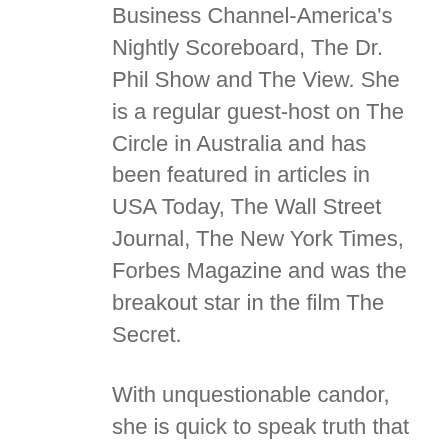Business Channel-America's Nightly Scoreboard, The Dr. Phil Show and The View. She is a regular guest-host on The Circle in Australia and has been featured in articles in USA Today, The Wall Street Journal, The New York Times, Forbes Magazine and was the breakout star in the film The Secret.
With unquestionable candor, she is quick to speak truth that leaves no doubt about her point of view.
To learn more about Loral, you can stay connected with her on her website or Instagram.